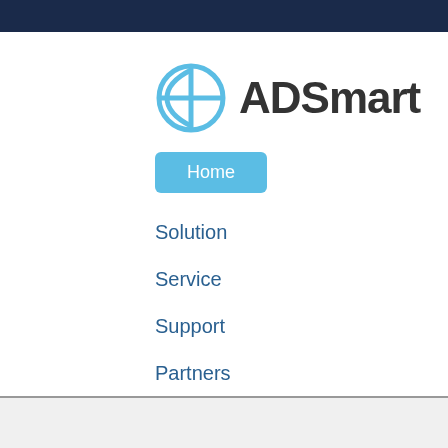[Figure (logo): ADSmart logo with a circular half-globe icon in light blue and the text ADSmart in dark gray bold]
Home
Solution
Service
Support
Partners
Contact